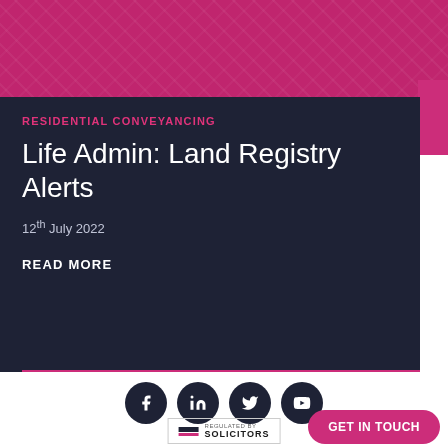[Figure (photo): Pink/magenta tinted banner image showing architectural or document blueprints in the background]
RESIDENTIAL CONVEYANCING
Life Admin: Land Registry Alerts
12th July 2022
READ MORE
[Figure (infographic): Social media icons row: Facebook, LinkedIn, Twitter, YouTube — dark circular buttons on white background]
GET IN TOUCH
[Figure (logo): Regulated by Solicitors badge with logo mark]